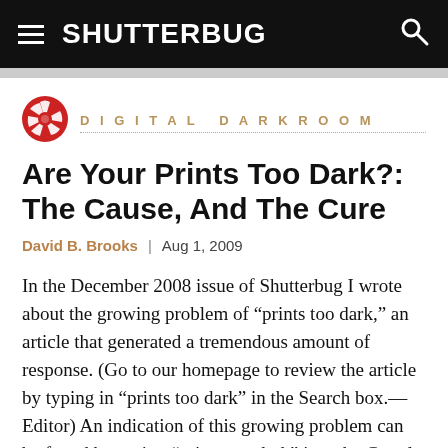SHUTTERBUG
DIGITAL DARKROOM
Are Your Prints Too Dark?: The Cause, And The Cure
David B. Brooks | Aug 1, 2009
In the December 2008 issue of Shutterbug I wrote about the growing problem of “prints too dark,” an article that generated a tremendous amount of response. (Go to our homepage to review the article by typing in “prints too dark” in the Search box.—Editor) An indication of this growing problem can be found by typing “prints too dark” into the Google